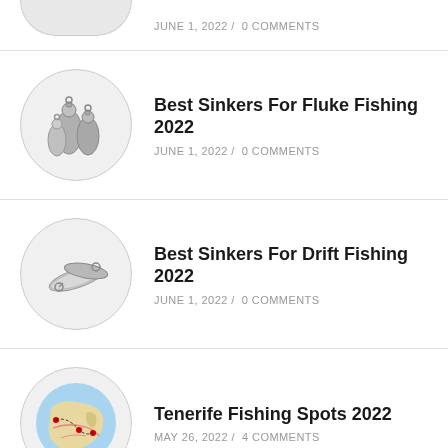[Figure (photo): Partial circular photo at top, clipped]
Best Sinkers For Fluke Fishing 2022
JUNE 1, 2022 / 0 COMMENTS
Best Sinkers For Drift Fishing 2022
JUNE 1, 2022 / 0 COMMENTS
Tenerife Fishing Spots 2022
MAY 26, 2022 / 4 COMMENTS
Best Fishing Wobblers For Beginner Fishermen: My Tips For Choosing
MAY 9, 2022 / 2 COMMENTS